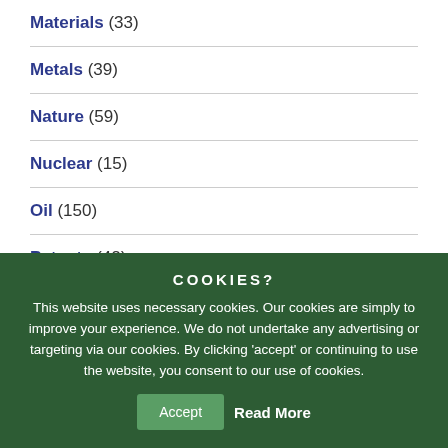Materials (33)
Metals (39)
Nature (59)
Nuclear (15)
Oil (150)
Patents (42)
Plastics (32)
COOKIES?
This website uses necessary cookies. Our cookies are simply to improve your experience. We do not undertake any advertising or targeting via our cookies. By clicking 'accept' or continuing to use the website, you consent to our use of cookies.